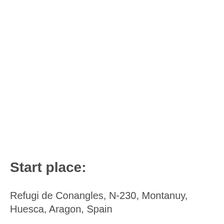Start place:
Refugi de Conangles, N-230, Montanuy, Huesca, Aragon, Spain